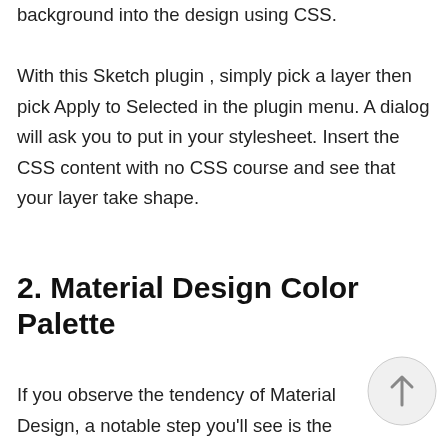background into the design using CSS. With this Sketch plugin , simply pick a layer then pick Apply to Selected in the plugin menu. A dialog will ask you to put in your stylesheet. Insert the CSS content with no CSS course and see that your layer take shape.
2. Material Design Color Palette
If you observe the tendency of Material Design, a notable step you'll see is the use of identifying colours. Material Design comes with a carefully chosen palette...